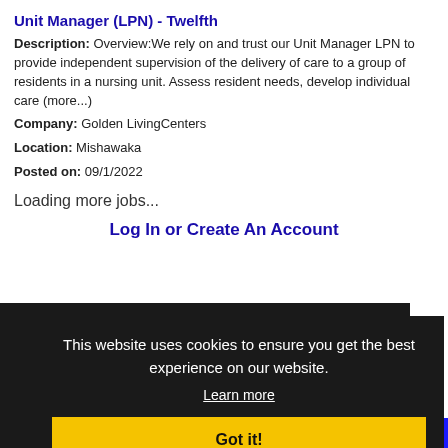Unit Manager (LPN) - Twelfth
Description: Overview:We rely on and trust our Unit Manager LPN to provide independent supervision of the delivery of care to a group of residents in a nursing unit. Assess resident needs, develop individual care (more...)
Company: Golden LivingCenters
Location: Mishawaka
Posted on: 09/1/2022
Loading more jobs...
Log In or Create An Account
Username:
This website uses cookies to ensure you get the best experience on our website.
Learn more
Got it!
Password:
Log In